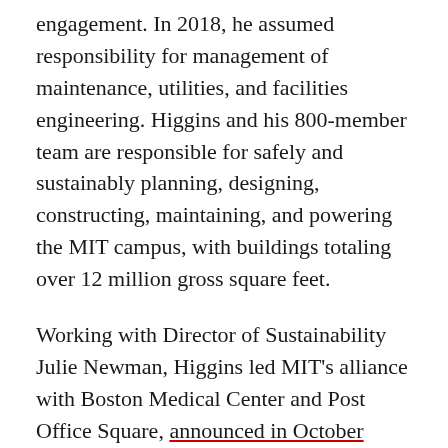engagement. In 2018, he assumed responsibility for management of maintenance, utilities, and facilities engineering. Higgins and his 800-member team are responsible for safely and sustainably planning, designing, constructing, maintaining, and powering the MIT campus, with buildings totaling over 12 million gross square feet.
Working with Director of Sustainability Julie Newman, Higgins led MIT's alliance with Boston Medical Center and Post Office Square, announced in October 2016, to create a 60-megawatt, 650-acre solar power installation, adding carbon-free energy to the grid. MIT's purchase of power from this North Carolina facility's 255,000 solar panels was equivalent to 40 percent of the Institute's electricity use at the time, neutralizing 17 percent of MIT's